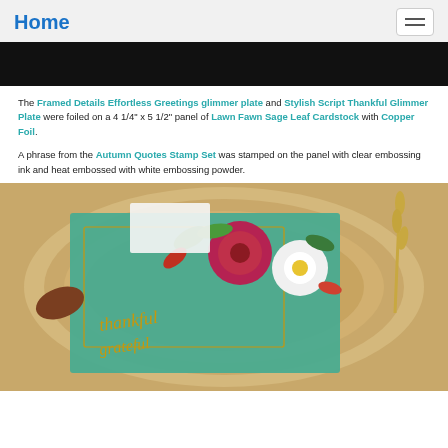Home
[Figure (photo): Black banner image at top of page]
The Framed Details Effortless Greetings glimmer plate and Stylish Script Thankful Glimmer Plate were foiled on a 4 1/4" x 5 1/2" panel of Lawn Fawn Sage Leaf Cardstock with Copper Foil.
A phrase from the Autumn Quotes Stamp Set was stamped on the panel with clear embossing ink and heat embossed with white embossing powder.
[Figure (photo): Photograph of a handmade greeting card on a wooden slice background, featuring teal cardstock with copper foil text reading 'thankful grateful', decorated with large pink/magenta and white daisy flowers, autumn leaves in red, orange and green. Dried wheat/grass decoration on right side. Text reads 'created by MissMor Creations' vertically on right side.]